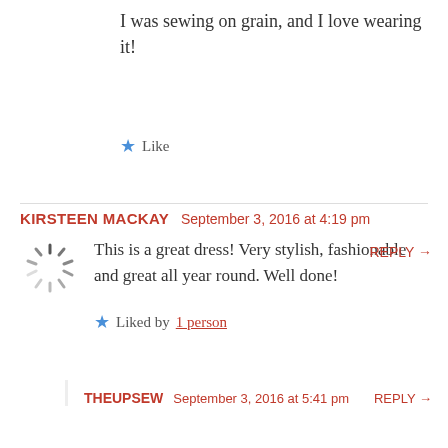I was sewing on grain, and I love wearing it!
Like
KIRSTEEN MACKAY   September 3, 2016 at 4:19 pm   REPLY →
This is a great dress! Very stylish, fashionable and great all year round. Well done!
Liked by 1 person
THEUPSEW   September 3, 2016 at 5:41 pm   REPLY →